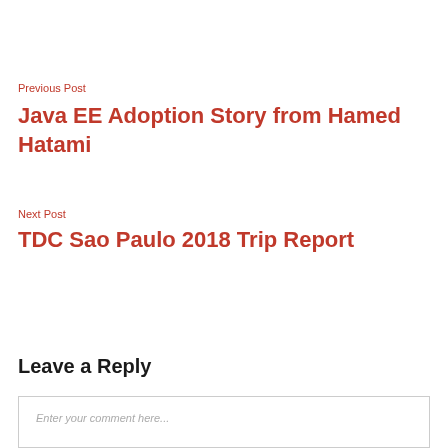Previous Post
Java EE Adoption Story from Hamed Hatami
Next Post
TDC Sao Paulo 2018 Trip Report
Leave a Reply
Enter your comment here...